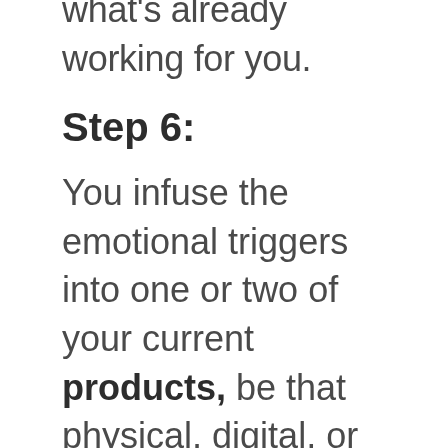just slightly tweak what's already working for you.
Step 6:
You infuse the emotional triggers into one or two of your current products, be that physical, digital, or both.